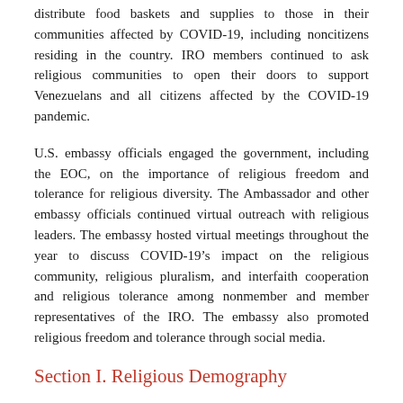distribute food baskets and supplies to those in their communities affected by COVID-19, including noncitizens residing in the country. IRO members continued to ask religious communities to open their doors to support Venezuelans and all citizens affected by the COVID-19 pandemic.
U.S. embassy officials engaged the government, including the EOC, on the importance of religious freedom and tolerance for religious diversity. The Ambassador and other embassy officials continued virtual outreach with religious leaders. The embassy hosted virtual meetings throughout the year to discuss COVID-19’s impact on the religious community, religious pluralism, and interfaith cooperation and religious tolerance among nonmember and member representatives of the IRO. The embassy also promoted religious freedom and tolerance through social media.
Section I. Religious Demography